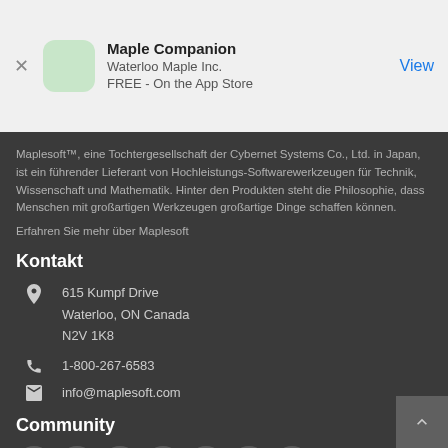[Figure (screenshot): App Store smart banner for Maple Companion by Waterloo Maple Inc., FREE on the App Store, with a View button]
Maplesoft™, eine Tochtergesellschaft der Cybernet Systems Co., Ltd. in Japan, ist ein führender Lieferant von Hochleistungs-Softwarewerkzeugen für Technik, Wissenschaft und Mathematik. Hinter den Produkten steht die Philosophie, dass Menschen mit großartigen Werkzeugen großartige Dinge schaffen können.
Erfahren Sie mehr über Maplesoft
Kontakt
615 Kumpf Drive
Waterloo, ON Canada
N2V 1K8
1-800-267-6583
info@maplesoft.com
Community
[Figure (illustration): Row of social media icons: a circular icon, Facebook, Twitter/X, YouTube, LinkedIn, another icon, and a final circular icon]